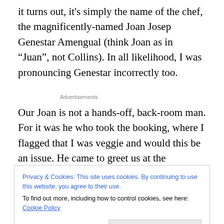it turns out, it's simply the name of the chef, the magnificently-named Joan Josep Genestar Amengual (think Joan as in “Juan”, not Collins). In all likelihood, I was pronouncing Genestar incorrectly too.
Advertisements
Our Joan is not a hands-off, back-room man. For it was he who took the booking, where I flagged that I was veggie and would this be an issue. He came to greet us at the
Privacy & Cookies: This site uses cookies. By continuing to use this website, you agree to their use.
To find out more, including how to control cookies, see here: Cookie Policy
taken care of, and you enjoy a tasting menu. Perfect for